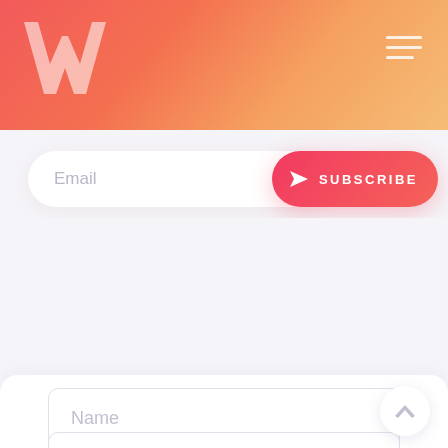[Figure (logo): Stylized W logo in light pink/white on coral gradient header background]
[Figure (infographic): Hamburger menu icon (three horizontal lines) in top right of header]
Email
SUBSCRIBE
Name